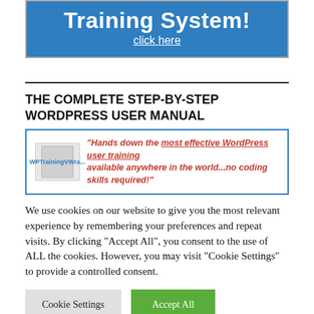[Figure (other): Blue banner with 'Training System! click here' text]
THE COMPLETE STEP-BY-STEP WORDPRESS USER MANUAL
[Figure (other): Book banner with quote: 'Hands down the most effective WordPress user training available anywhere in the world...no coding skills required!']
We use cookies on our website to give you the most relevant experience by remembering your preferences and repeat visits. By clicking "Accept All", you consent to the use of ALL the cookies. However, you may visit "Cookie Settings" to provide a controlled consent.
Cookie Settings | Accept All